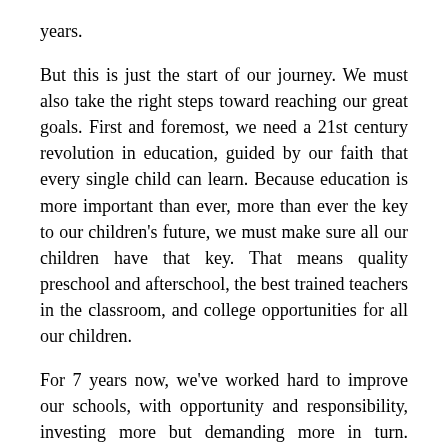years.
But this is just the start of our journey. We must also take the right steps toward reaching our great goals. First and foremost, we need a 21st century revolution in education, guided by our faith that every single child can learn. Because education is more important than ever, more than ever the key to our children's future, we must make sure all our children have that key. That means quality preschool and afterschool, the best trained teachers in the classroom, and college opportunities for all our children.
For 7 years now, we've worked hard to improve our schools, with opportunity and responsibility, investing more but demanding more in turn. Reading, math, college entrance scores are up. Some of the most impressive gains are in schools in very poor neighborhoods.
But all successful schools have followed the same proven formula: higher standards, more accountability, and extra help so children who need it can get it to reach those standards. I have sent Congress a reform plan based on that formula. It